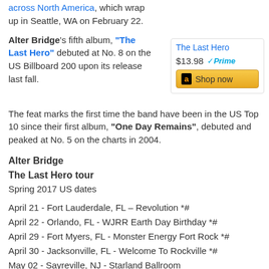across North America, which wrap up in Seattle, WA on February 22.
Alter Bridge's fifth album, "The Last Hero" debuted at No. 8 on the US Billboard 200 upon its release last fall.
[Figure (other): Amazon product widget showing 'The Last Hero' for $13.98 with Prime badge and Shop now button]
The feat marks the first time the band have been in the US Top 10 since their first album, "One Day Remains", debuted and peaked at No. 5 on the charts in 2004.
Alter Bridge
The Last Hero tour
Spring 2017 US dates
April 21 - Fort Lauderdale, FL – Revolution *#
April 22 - Orlando, FL - WJRR Earth Day Birthday *#
April 29 - Fort Myers, FL - Monster Energy Fort Rock *#
April 30 - Jacksonville, FL - Welcome To Rockville *#
May 02 - Sayreville, NJ - Starland Ballroom
May 03 - Providence, RI - Lupo's Heartbreak Hotel
May 05 - Virginia Beach, VA - Lunatic Luau *#
May 06 - Concord, NC - Carolina Rebellion *#